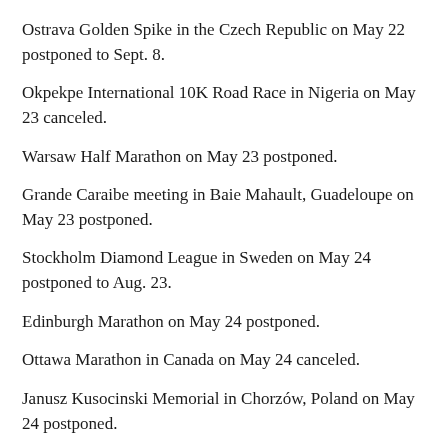Ostrava Golden Spike in the Czech Republic on May 22 postponed to Sept. 8.
Okpekpe International 10K Road Race in Nigeria on May 23 canceled.
Warsaw Half Marathon on May 23 postponed.
Grande Caraibe meeting in Baie Mahault, Guadeloupe on May 23 postponed.
Stockholm Diamond League in Sweden on May 24 postponed to Aug. 23.
Edinburgh Marathon on May 24 postponed.
Ottawa Marathon in Canada on May 24 canceled.
Janusz Kusocinski Memorial in Chorzów, Poland on May 24 postponed.
Gala dei Castelli in Bellinzona, Switzerland on May 25